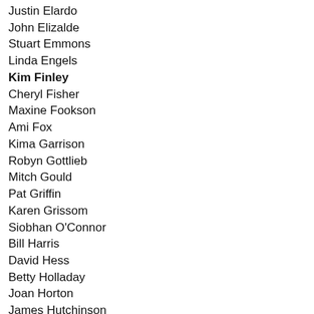Justin Elardo
John Elizalde
Stuart Emmons
Linda Engels
Kim Finley
Cheryl Fisher
Maxine Fookson
Ami Fox
Kima Garrison
Robyn Gottlieb
Mitch Gould
Pat Griffin
Karen Grissom
Siobhan O'Connor
Bill Harris
David Hess
Betty Holladay
Joan Horton
James Hutchinson
Katherine Jesch
Ron Jimmerson